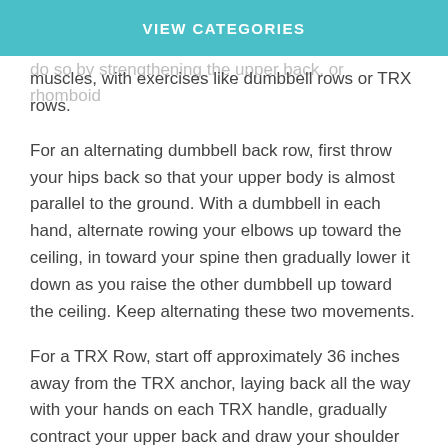stronger core, you also need to work your back muscles, increasing your strength overall. You can do so by strengthening the upper back, or rhomboid muscles, with exercises like dumbbell rows or TRX rows.
For an alternating dumbbell back row, first throw your hips back so that your upper body is almost parallel to the ground. With a dumbbell in each hand, alternate rowing your elbows up toward the ceiling, in toward your spine then gradually lower it down as you raise the other dumbbell up toward the ceiling. Keep alternating these two movements.
For a TRX Row, start off approximately 36 inches away from the TRX anchor, laying back all the way with your hands on each TRX handle, gradually contract your upper back and draw your shoulder blades towards each other as you pull yourself up